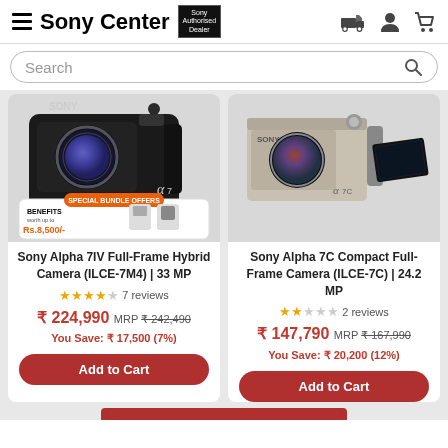Sony Center — Sony Authorised Dealer
Search
[Figure (photo): Sony Alpha 7IV camera body with special bundle offers badge showing benefits worth Rs.8,500]
[Figure (photo): Sony Alpha 7C compact camera body in silver/black with tilting screen]
Sony Alpha 7IV Full-Frame Hybrid Camera (ILCE-7M4) | 33 MP
★★★★☆ 7 reviews
₹ 224,990  MRP ₹ 242,490  You Save: ₹ 17,500 (7%)
Add to Cart
Sony Alpha 7C Compact Full-Frame Camera (ILCE-7C) | 24.2 MP
★★☆☆☆ 2 reviews
₹ 147,790  MRP ₹ 167,990  You Save: ₹ 20,200 (12%)
Add to Cart